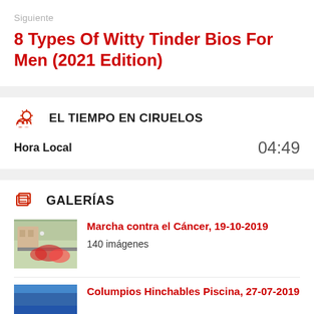Siguiente
8 Types Of Witty Tinder Bios For Men (2021 Edition)
EL TIEMPO EN CIRUELOS
Hora Local   04:49
GALERÍAS
Marcha contra el Cáncer, 19-10-2019
140 imágenes
Columpios Hinchables Piscina, 27-07-2019